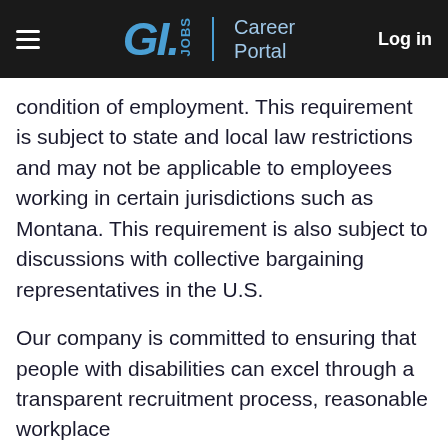G.I. JOBS | Career Portal   Log in
condition of employment. This requirement is subject to state and local law restrictions and may not be applicable to employees working in certain jurisdictions such as Montana. This requirement is also subject to discussions with collective bargaining representatives in the U.S.
Our company is committed to ensuring that people with disabilities can excel through a transparent recruitment process, reasonable workplace